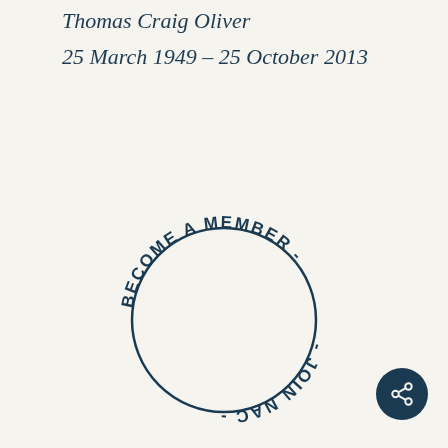Thomas Craig Oliver
25 March 1949 – 25 October 2013
[Figure (other): Circular text badge reading 'BECOME A MEMBER - JOIN NAC -' in dark navy bold uppercase letters arranged in a circle, with the top arc reading left-to-right and the bottom arc reading upside-down]